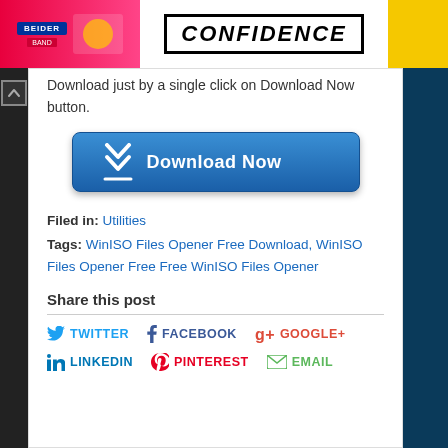[Figure (illustration): Top advertisement banner with BEIDER branding on left in pink/red background, CONFIDENCE text in center on white, and yellow section on right]
Download just by a single click on Download Now button.
[Figure (illustration): Blue Download Now button with double chevron arrow icon on left]
Filed in: Utilities
Tags: WinISO Files Opener Free Download, WinISO Files Opener Free Free WinISO Files Opener
Share this post
TWITTER  FACEBOOK  GOOGLE+  LINKEDIN  PINTEREST  EMAIL